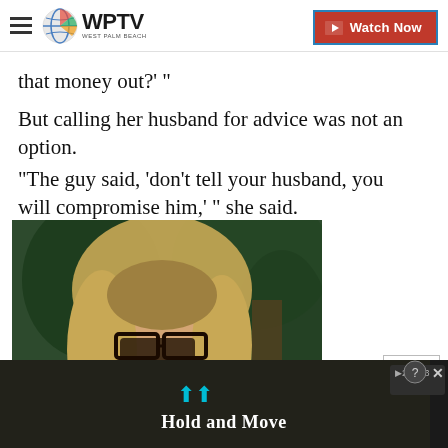WPTV West Palm Beach | Watch Now
that money out?' "
But calling her husband for advice was not an option.
"The guy said, 'don't tell your husband, you will compromise him,' " she said.
[Figure (photo): A middle-aged woman with blonde hair and black-rimmed glasses, looking concerned, photographed outdoors against a green wooded background.]
[Figure (screenshot): Dark advertisement overlay at the bottom of the screen showing 'Hold and Move' text with video control icons. A 'CLOSE' button appears in the upper right of the overlay area.]